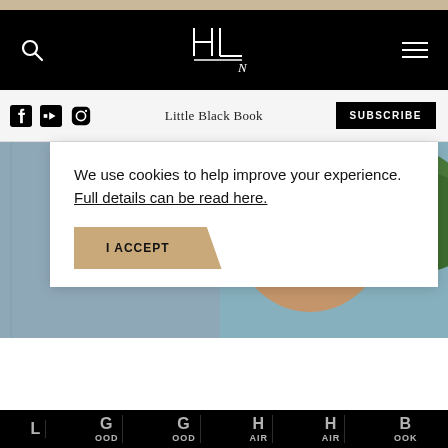HLN logo, search icon, hamburger menu
Little Black Book
SUBSCRIBE
[Figure (photo): Close-up photo of a young woman with brown hair looking upward, with a blurred architectural/natural background in blue-grey and green tones]
We use cookies to help improve your experience. Full details can be read here.
I ACCEPT
L GOOD GOOD HAIR HAIR BOOK